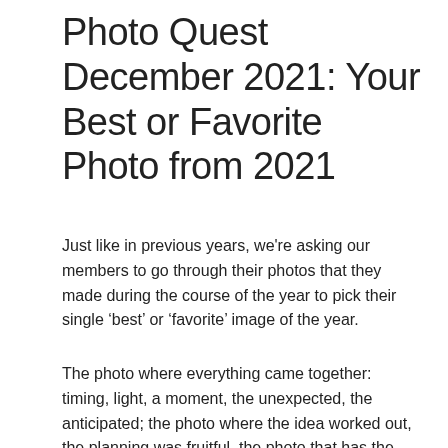Photo Quest December 2021: Your Best or Favorite Photo from 2021
Just like in previous years, we're asking our members to go through their photos that they made during the course of the year to pick their single ‘best’ or ‘favorite’ image of the year.
The photo where everything came together: timing, light, a moment, the unexpected, the anticipated; the photo where the idea worked out, the planning was fruitful, the photo that has the